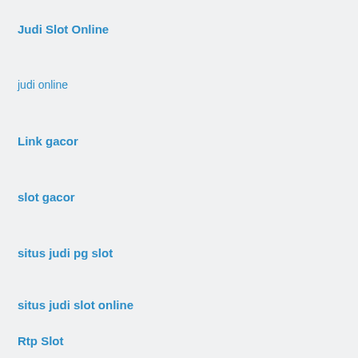Judi Slot Online
judi online
Link gacor
slot gacor
situs judi pg slot
situs judi slot online
Rtp Slot